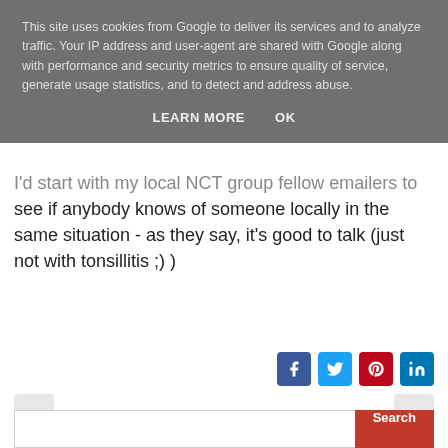This site uses cookies from Google to deliver its services and to analyze traffic. Your IP address and user-agent are shared with Google along with performance and security metrics to ensure quality of service, generate usage statistics, and to detect and address abuse.
LEARN MORE    OK
I'd start with my local NCT group fellow emailers to see if anybody knows of someone locally in the same situation - as they say, it's good to talk (just not with tonsillitis ;) )
[Figure (other): Social share buttons: Facebook (blue), Twitter (light blue), Pinterest (red), LinkedIn (dark blue)]
[Figure (other): Previous navigation arrow button (left chevron in red) and Next navigation arrow button (right chevron in red)]
[Figure (other): Search bar with text input field and red Search button]